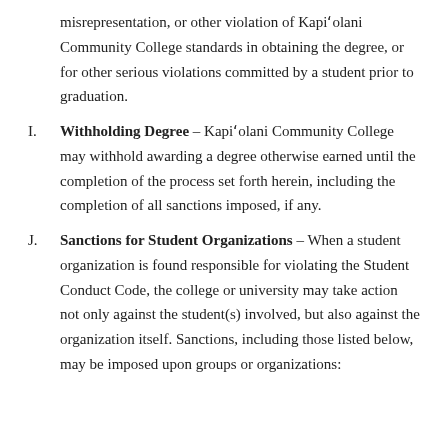misrepresentation, or other violation of Kapiʻolani Community College standards in obtaining the degree, or for other serious violations committed by a student prior to graduation.
I. Withholding Degree – Kapiʻolani Community College may withhold awarding a degree otherwise earned until the completion of the process set forth herein, including the completion of all sanctions imposed, if any.
J. Sanctions for Student Organizations – When a student organization is found responsible for violating the Student Conduct Code, the college or university may take action not only against the student(s) involved, but also against the organization itself. Sanctions, including those listed below, may be imposed upon groups or organizations: